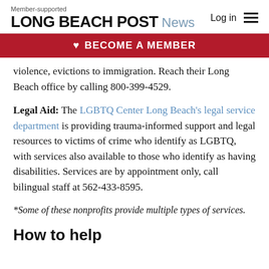Member-supported LONG BEACH POST News | Log in
BECOME A MEMBER
violence, evictions to immigration. Reach their Long Beach office by calling 800-399-4529.
Legal Aid: The LGBTQ Center Long Beach's legal service department is providing trauma-informed support and legal resources to victims of crime who identify as LGBTQ, with services also available to those who identify as having disabilities. Services are by appointment only, call bilingual staff at 562-433-8595.
*Some of these nonprofits provide multiple types of services.
How to help